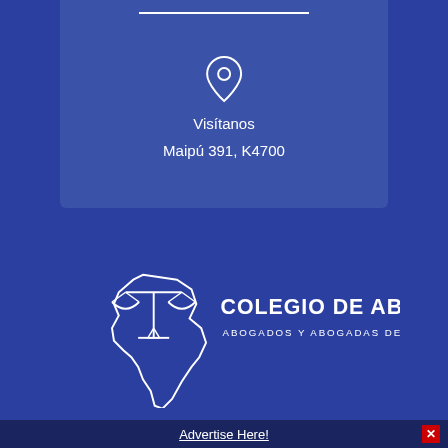[Figure (other): Location pin icon (map marker) in white outline on blue background]
Visítanos
Maipú 391, K4700
[Figure (logo): Colegio de Abogados logo: white outline of scales of justice with a map shape of Catamarca province. Text reads COLEGIO DE ABOGADOS / ABOGADOS Y ABOGADAS DE CATAMARCA]
Advertise Here!